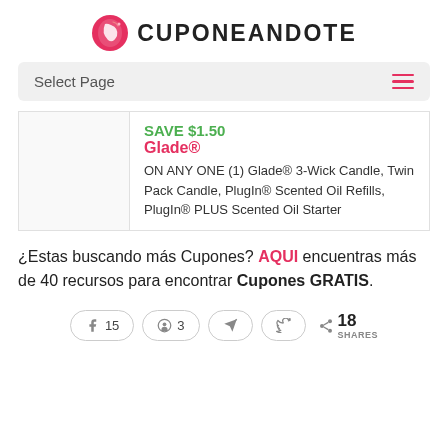CUPONEANDOTE
Select Page
| SAVE $1.50 Glade® ON ANY ONE (1) Glade® 3-Wick Candle, Twin Pack Candle, PlugIn® Scented Oil Refills, PlugIn® PLUS Scented Oil Starter |
¿Estas buscando más Cupones? AQUI encuentras más de 40 recursos para encontrar Cupones GRATIS.
15  3  18 SHARES